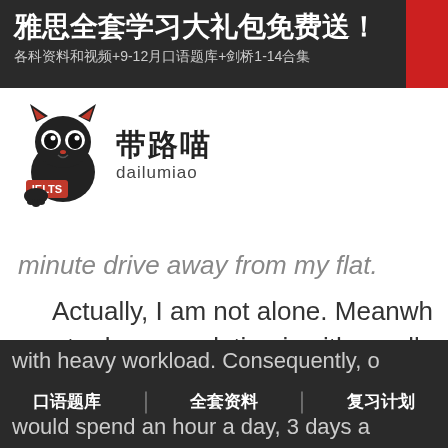[Figure (infographic): Dark banner advertisement for IELTS study package in Chinese: 雅思全套学习大礼包免费送！各科资料和视频+9-12月口语题库+剑桥1-14合集, with red accent block on right]
[Figure (logo): Dailumiao IELTS logo — cartoon cat mascot in black with red IELTS badge, Chinese text 带路喵, and latin text dailumiao]
minute drive away from my flat.
Actually, I am not alone. Meanwh most urban population is either collaps the screen of TV, PC, smart phone, or
with heavy workload. Consequently, o would spend an hour a day, 3 days a
口语题库 | 全套资料 | 复习计划